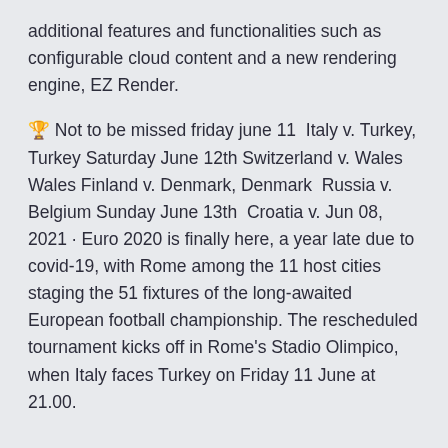additional features and functionalities such as configurable cloud content and a new rendering engine, EZ Render.
🏆 Not to be missed friday june 11 Italy v. Turkey, Turkey Saturday June 12th Switzerland v. Wales Wales Finland v. Denmark, Denmark Russia v. Belgium Sunday June 13th Croatia v. Jun 08, 2021 · Euro 2020 is finally here, a year late due to covid-19, with Rome among the 11 host cities staging the 51 fixtures of the long-awaited European football championship. The rescheduled tournament kicks off in Rome's Stadio Olimpico, when Italy faces Turkey on Friday 11 June at 21.00.
Watch UEFA EURO 2020 here at Trafalgar, it will take place